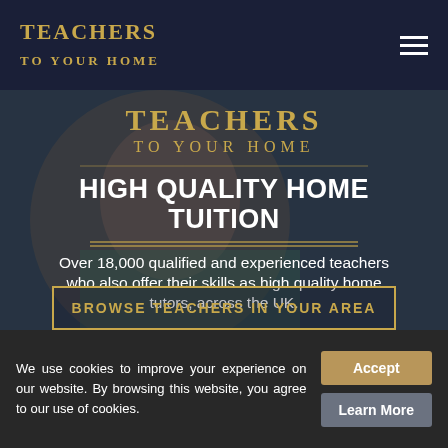TEACHERS TO YOUR HOME
[Figure (photo): Blurred background photo of a young man with beard wearing a green hoodie, looking downward]
TEACHERS TO YOUR HOME
HIGH QUALITY HOME TUITION
Over 18,000 qualified and experienced teachers who also offer their skills as high quality home tutors, across the UK.
BROWSE TEACHERS IN YOUR AREA
We use cookies to improve your experience on our website. By browsing this website, you agree to our use of cookies.